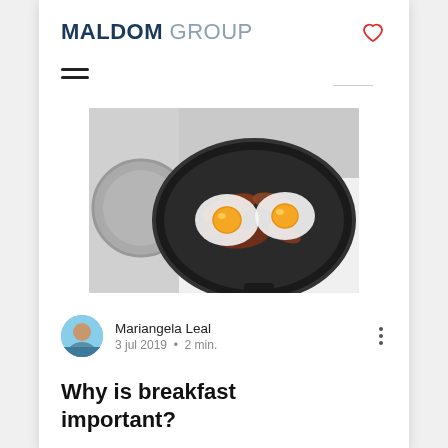MALDOM GROUP
[Figure (photo): Overhead view of a black frying pan on a stove with two fried eggs and bacon/meat pieces cooking]
Mariangela Leal
3 jul 2019 • 2 min.
Why is breakfast important?